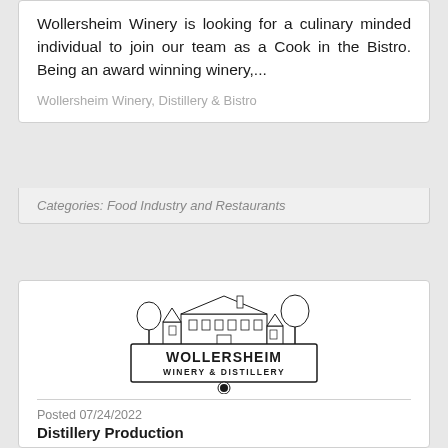Wollersheim Winery is looking for a culinary minded individual to join our team as a Cook in the Bistro. Being an award winning winery,...
Wollersheim Winery, Distillery & Bistro
Categories: Food Industry and Restaurants
[Figure (logo): Wollersheim Winery & Distillery logo showing a building with trees above a rectangular banner with the winery name]
Posted 07/24/2022
Distillery Production
Wollersheim Winery and Distillery has an exciting new opportunity for anyone who has